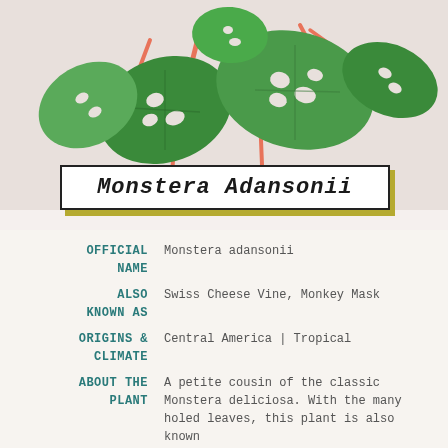[Figure (illustration): Illustration of Monstera Adansonii plant with green holey leaves and pink/coral stems against a beige background]
Monstera Adansonii
OFFICIAL NAME: Monstera adansonii
ALSO KNOWN AS: Swiss Cheese Vine, Monkey Mask
ORIGINS & CLIMATE: Central America | Tropical
ABOUT THE PLANT: A petite cousin of the classic Monstera deliciosa. With the many holed leaves, this plant is also known as the Swiss Cheese Vine. Like their cousin, this plant is a natural